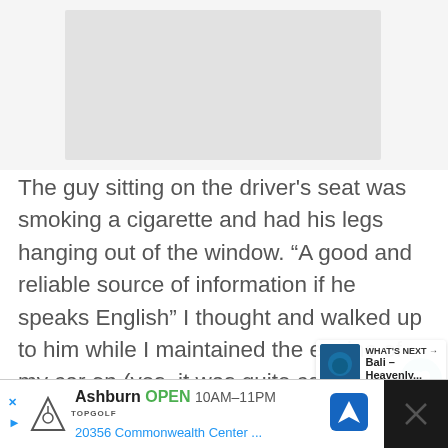[Figure (screenshot): Gray placeholder box at top of page, likely an ad or image placeholder]
The guy sitting on the driver's seat was smoking a cigarette and had his legs hanging out of the window. “A good and reliable source of information if he speaks English” I thought and walked up to him while I maintained the engine of my car on (yes, it was quite cold at that time of year/day).
[Figure (screenshot): Bottom advertisement bar: Topgolf logo, Ashburn OPEN 10AM-11PM, 20356 Commonwealth Center ..., navigation icon, close button on dark background. Also shows 'WHAT'S NEXT' promo for 'Bali - Heavenly...' with thumbnail.]